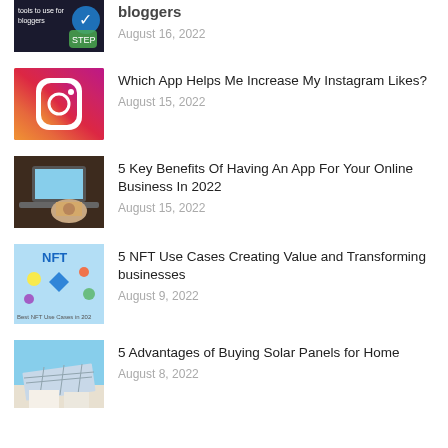bloggers — August 16, 2022
Which App Helps Me Increase My Instagram Likes? — August 15, 2022
5 Key Benefits Of Having An App For Your Online Business In 2022 — August 15, 2022
5 NFT Use Cases Creating Value and Transforming businesses — August 9, 2022
5 Advantages of Buying Solar Panels for Home — August 8, 2022